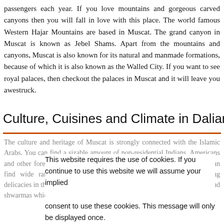passengers each year. If you love mountains and gorgeous carved canyons then you will fall in love with this place. The world famous Western Hajar Mountains are based in Muscat. The grand canyon in Muscat is known as Jebel Shams. Apart from the mountains and canyons, Muscat is also known for its natural and manmade formations, because of which it is also known as the Walled City. If you want to see royal palaces, then checkout the palaces in Muscat and it will leave you awestruck.
Culture, Cuisines and Climate in Dalian
The culture and heritage of Muscat is strongly connected with the Islamic Arabs. You can find a sizable amount of non-residential Indians, Americans and other foreigners in the Muslim community living in Muscat. You can find wide range of Indian, Arabic and international mouth watering delicacies in the city. While your visit to Muscat do not miss the biryanis and shwarmas which are famous
This website requires the use of cookies. If you continue to use this website we will assume your implied consent to use these cookies. This message will only be displayed once.